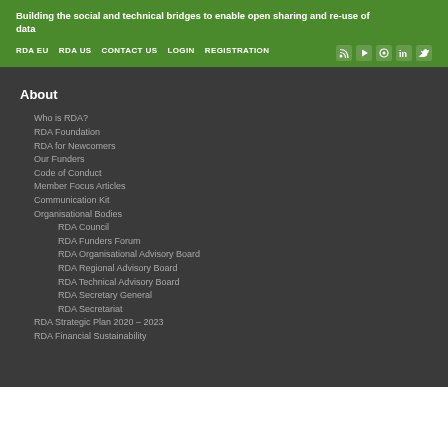Building the social and technical bridges to enable open sharing and re-use of data
RDA EU
RDA US
CONTACT US
LOGIN
REGISTRATION
About
Who is RDA?
RDA Foundation
RDA for Newcomers
Our Funders
Code of Conduct
Member Focus Articles
Communication Kit
Organisational Bodies
RDA Council
RDA Funders Forum
RDA Organisational Advisory Board
RDA Regional Advisory Board
RDA Technical Advisory Board
RDA Secretary General
RDA Secretariat
RDA Strategic Plan 2020 – 2023
RDA Financial Sustainability